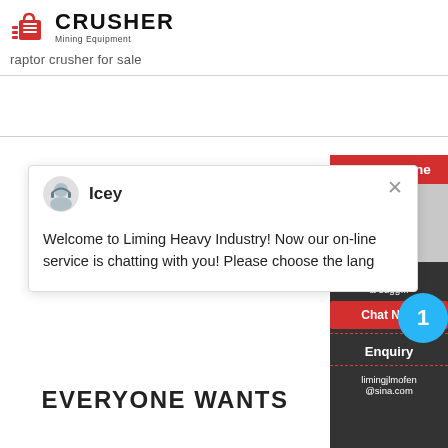[Figure (logo): Crusher Mining Equipment logo with red shopping bag icon and bold CRUSHER text with Mining Equipment subtitle]
raptor crusher for sale
[Figure (screenshot): Live chat popup with agent named Icey, message: Welcome to Liming Heavy Industry! Now our on-line service is chatting with you! Please choose the lang]
[Figure (infographic): 24Hrs Online sidebar with chat agent, Need & suggestions, Chat Now button, notification badge showing 1, Enquiry section, and limingjlmofen@sina.com email]
EVERYONE WANTS